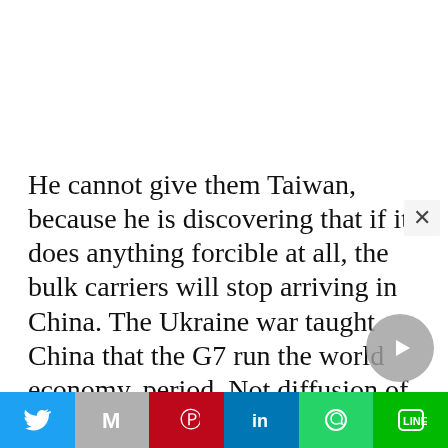He cannot give them Taiwan, because he is discovering that if it does anything forcible at all, the bulk carriers will stop arriving in China. The Ukraine war taught China that the G7 run the world economy, period. Not diffusion of power, you know, Turkey and Brazil, Mexico. None of that. The G7 decide, then ships don't arrive in the ports of China. You don't need the U.S. Navy to blockade China. The bulk carriers from San Diego, from Los Angeles, from Australia, from Brazil, simply don't arrive. And if the animal feed doesn't arrive in